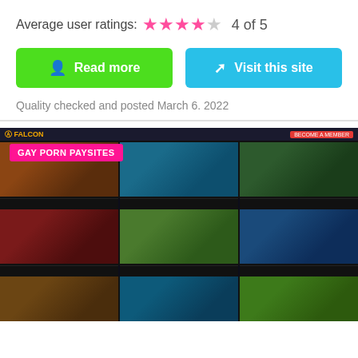Average user ratings: ★★★★☆ 4 of 5
Read more
Visit this site
Quality checked and posted March 6. 2022
[Figure (screenshot): Screenshot of Falcon gay porn paysite showing a grid of video thumbnails with 'GAY PORN PAYSITES' label overlay in pink/magenta, dark themed website with 3-column video grid layout]